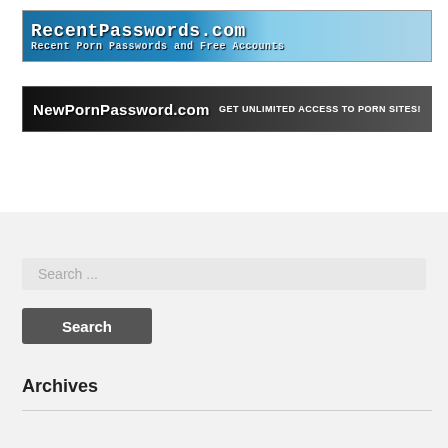[Figure (screenshot): Banner ad for RecentPasswords.com — blue gradient background with text 'RecentPasswords.com' and 'Recent Porn Passwords and Free Accounts' in monospace font]
[Figure (screenshot): Banner ad for NewPornPassword.com — dark background with text 'NewPornPassword.com' and 'GET UNLIMITED ACCESS TO PORN SITES!']
Search ...
Search
Archives